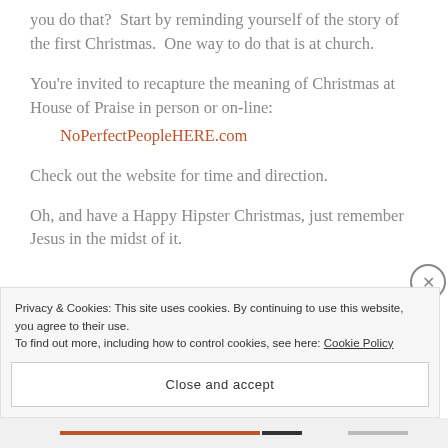you do that?  Start by reminding yourself of the story of the first Christmas.  One way to do that is at church.
You're invited to recapture the meaning of Christmas at House of Praise in person or on-line: NoPerfectPeopleHERE.com
Check out the website for time and direction.
Oh, and have a Happy Hipster Christmas, just remember Jesus in the midst of it.
Privacy & Cookies: This site uses cookies. By continuing to use this website, you agree to their use.
To find out more, including how to control cookies, see here: Cookie Policy
Close and accept